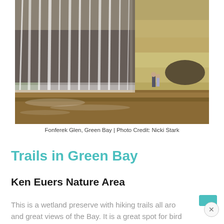[Figure (photo): Waterfall at Fonferek Glen, Green Bay. A wide waterfall cascades over a limestone cliff face into a brownish pool below. Two people stand near the base of the cliff on the right side.]
Fonferek Glen, Green Bay | Photo Credit: Nicki Stark
Trails in Green Bay
Ken Euers Nature Area
This is a wetland preserve with hiking trails all aro... and great views of the Bay. It is a great spot for bird